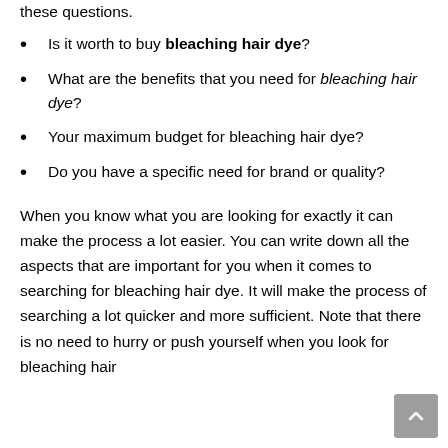these questions.
Is it worth to buy bleaching hair dye?
What are the benefits that you need for bleaching hair dye?
Your maximum budget for bleaching hair dye?
Do you have a specific need for brand or quality?
When you know what you are looking for exactly it can make the process a lot easier. You can write down all the aspects that are important for you when it comes to searching for bleaching hair dye. It will make the process of searching a lot quicker and more sufficient. Note that there is no need to hurry or push yourself when you look for bleaching hair